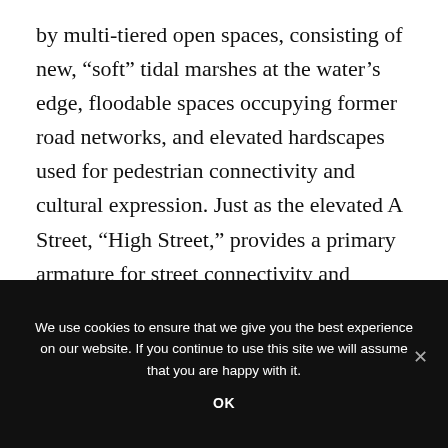by multi-tiered open spaces, consisting of new, “soft” tidal marshes at the water’s edge, floodable spaces occupying former road networks, and elevated hardscapes used for pedestrian connectivity and cultural expression. Just as the elevated A Street, “High Street,” provides a primary armature for street connectivity and development (“High Spine”), a main central axis of potentially floodable parks becomes the landscape backbone of the masterplan development, allowing connections within a general pattern of potentially floodable public greens.
We use cookies to ensure that we give you the best experience on our website. If you continue to use this site we will assume that you are happy with it.
OK